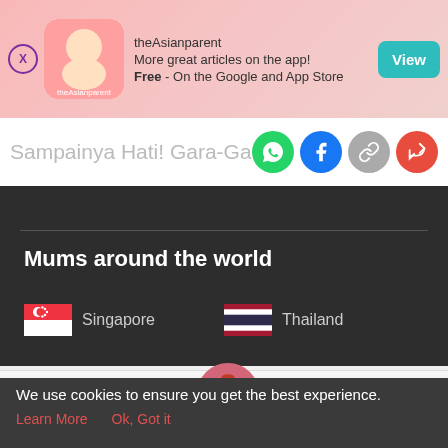[Figure (screenshot): theAsianparent app banner advertisement with logo, text promoting app download, and View button]
Sampainya Hati! Gara-Gara Lahir Be...
[Figure (infographic): Social share icons: WhatsApp (green), Facebook (blue), link (gray), share (red)]
Mums around the world
Singapore
Thailand
[Figure (screenshot): Bottom navigation bar with Tools, Articles, home (pregnant woman icon), Feed, Poll]
We use cookies to ensure you get the best experience.
Learn More   Ok, Got it